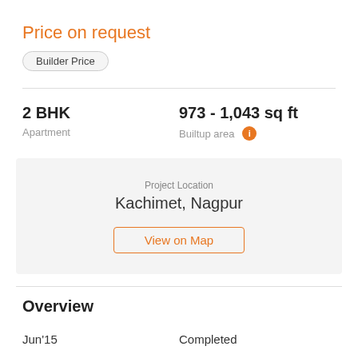Price on request
Builder Price
2 BHK
Apartment
973 - 1,043 sq ft
Builtup area
Project Location
Kachimet, Nagpur
View on Map
Overview
Jun'15
Completed